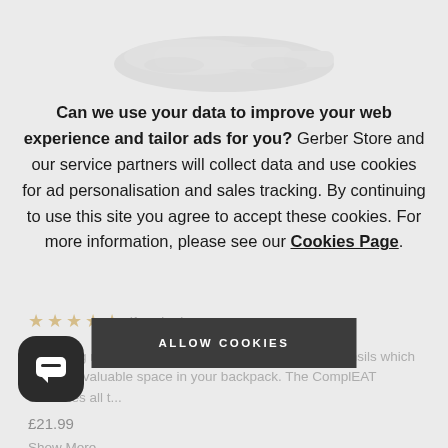[Figure (screenshot): Partial product image of a shoe/utensil item, grayed out in background]
Can we use your data to improve your web experience and tailor ads for you? Gerber Store and our service partners will collect data and use cookies for ad personalisation and sales tracking. By continuing to use this site you agree to accept these cookies. For more information, please see our Cookies Page.
[Figure (other): ALLOW COOKIES button (dark background, white uppercase text)]
★★★★★ (1 review)
Preparing mea... can involve a number of different utensils which takes up valuable space in your backpack. The ComplEAT combines all t…
Show More
R-2343 In Stock |
% off
£21.99